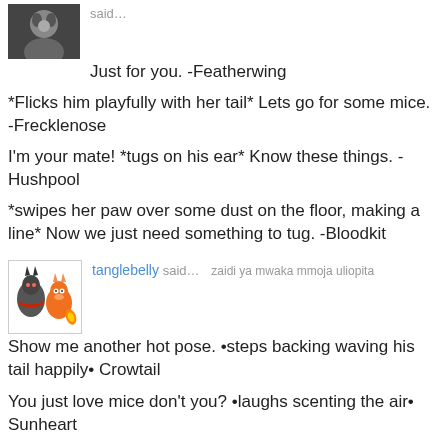[Figure (photo): Black and white avatar photo of a user]
said…
Just for you. -Featherwing
*Flicks him playfully with her tail* Lets go for some mice. -Frecklenose
I'm your mate! *tugs on his ear* Know these things. -Hushpool
*swipes her paw over some dust on the floor, making a line* Now we just need something to tug. -Bloodkit
[Figure (illustration): tanglebelly avatar showing cartoon characters]
tanglebelly said… zaidi ya mwaka mmoja uliopita
Show me another hot pose. •steps backing waving his tail happily• Crowtail
You just love mice don't you? •laughs scenting the air• Sunheart
But I don't wanna. •whines• isn't my love enough to make up for not knowing? Skyheart